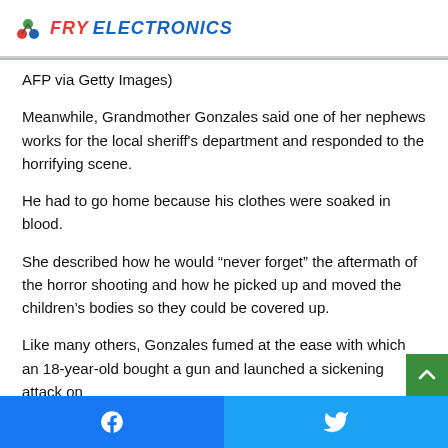FRY ELECTRONICS
AFP via Getty Images)
Meanwhile, Grandmother Gonzales said one of her nephews works for the local sheriff's department and responded to the horrifying scene.
He had to go home because his clothes were soaked in blood.
She described how he would “never forget” the aftermath of the horror shooting and how he picked up and moved the children’s bodies so they could be covered up.
Like many others, Gonzales fumed at the ease with which an 18-year-old bought a gun and launched a sickening attack on an elementary school.
Facebook  Twitter